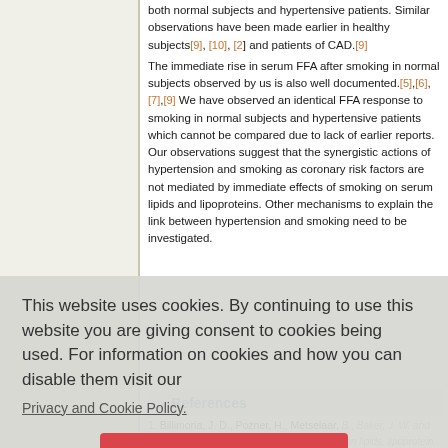both normal subjects and hypertensive patients. Similar observations have been made earlier in healthy subjects[9], [10], [2] and patients of CAD.[9]
The immediate rise in serum FFA after smoking in normal subjects observed by us is also well documented.[5],[6],[7],[9] We have observed an identical FFA response to smoking in normal subjects and hypertensive patients which cannot be compared due to lack of earlier reports. Our observations suggest that the synergistic actions of hypertension and smoking as coronary risk factors are not mediated by immediate effects of smoking on serum lipids and lipoproteins. Other mechanisms to explain the link between hypertension and smoking need to be investigated.
References
1. Billimoria, J. D., Pozner, H., Metselaar, B., Baker, J. W. and James, D. C. O.: Effect of cigarette smoking on lipids, lipoprotein, blood coagulation, fibrinolysis and cellular components of blood...
This website uses cookies. By continuing to use this website you are giving consent to cookies being used. For information on cookies and how you can disable them visit our
Privacy and Cookie Policy.
AGREE & PROCEED